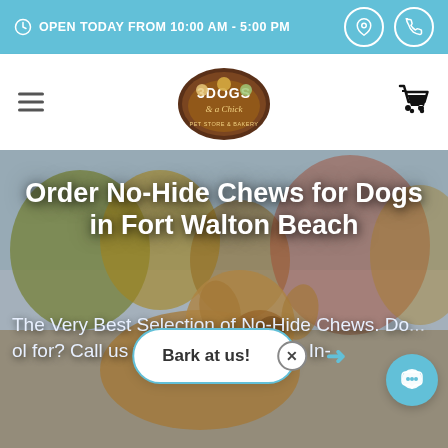OPEN TODAY FROM 10:00 AM - 5:00 PM
[Figure (logo): 3 Dogs & a Chick pet store oval logo with cartoon animals]
Bark at us!
Order No-Hide Chews for Dogs in Fort Walton Beach
The Very Best Selection of No-Hide Chews. Do... ol for? Call us to place an order for In-